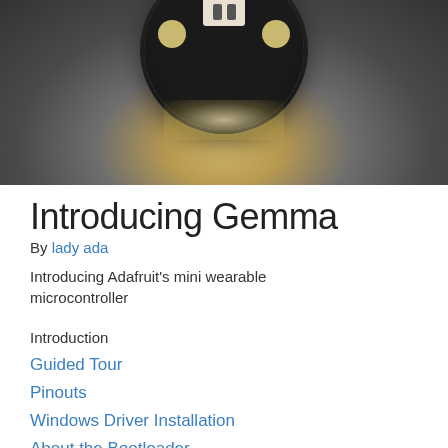[Figure (photo): Close-up photo of the Adafruit Gemma mini wearable microcontroller board, a small circular black PCB with a JST connector and copper pads, glowing from beneath against a dark gray background.]
Introducing Gemma
By lady ada
Introducing Adafruit's mini wearable microcontroller
Introduction
Guided Tour
Pinouts
Windows Driver Installation
About the Bootloader